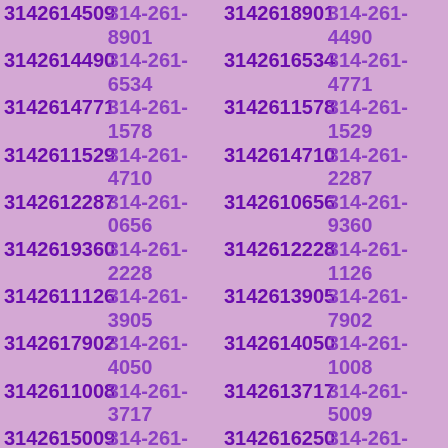3142614509 314-261-8901 3142618901 314-261-4490 3142614490 314-261-6534 3142616534 314-261-4771 3142614771 314-261-1578 3142611578 314-261-1529 3142611529 314-261-4710 3142614710 314-261-2287 3142612287 314-261-0656 3142610656 314-261-9360 3142619360 314-261-2228 3142612228 314-261-1126 3142611126 314-261-3905 3142613905 314-261-7902 3142617902 314-261-4050 3142614050 314-261-1008 3142611008 314-261-3717 3142613717 314-261-5009 3142615009 314-261-6250 3142616250 314-261-4299 3142614299 314-261-4004 3142614004 314-261-7697 3142617697 314-261-8126 3142618126 314-261-2875 3142612875 314-261-9273 3142619273 314-261-2433 3142612433 314-261-8624 3142618624 314-261-5388 3142615388 314-261-5663 3142615663 314-261-4400 3142614400 314-261-1324 3142611324 314-261-5776 3142615776 314-261-9686 3142619686 314-261-3150 3142613150 314-261-6645 3142616645 314-261-8335 3142618335 314-261-2462 3142612462 314-261-2456 3142612456 314-261-3089 3142613089 314-261-9708 3142619708 314-261-3161 3142613161 314-261-2935